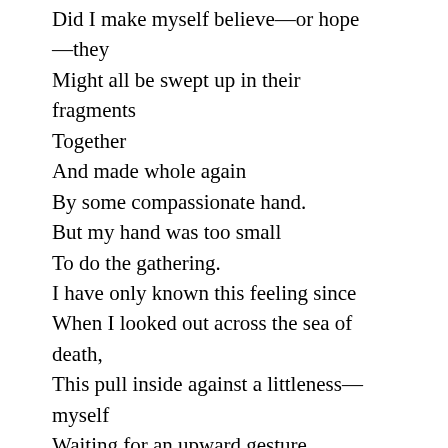Did I make myself believe—or hope
—they
Might all be swept up in their
fragments
Together
And made whole again
By some compassionate hand.
But my hand was too small
To do the gathering.
I have only known this feeling since
When I looked out across the sea of
death,
This pull inside against a littleness—
myself
Waiting for an upward gesture.
—Herbert Mason from Gilgemesh